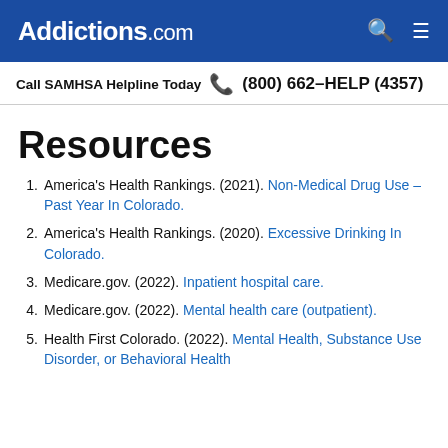Addictions.com
Call SAMHSA Helpline Today (800) 662-HELP (4357)
Resources
America's Health Rankings. (2021). Non-Medical Drug Use – Past Year In Colorado.
America's Health Rankings. (2020). Excessive Drinking In Colorado.
Medicare.gov. (2022). Inpatient hospital care.
Medicare.gov. (2022). Mental health care (outpatient).
Health First Colorado. (2022). Mental Health, Substance Use Disorder, or Behavioral Health